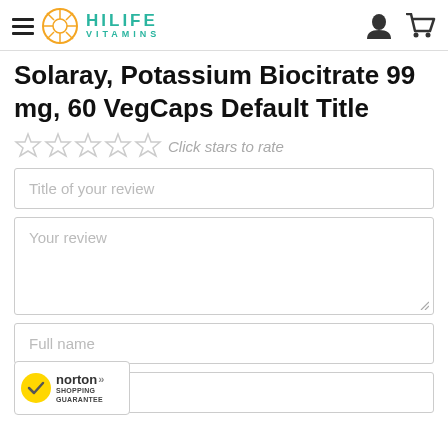HiLife Vitamins
Solaray, Potassium Biocitrate 99 mg, 60 VegCaps Default Title
Click stars to rate
Title of your review
Your review
Full name
...ail
[Figure (logo): Norton Shopping Guarantee badge with yellow checkmark]